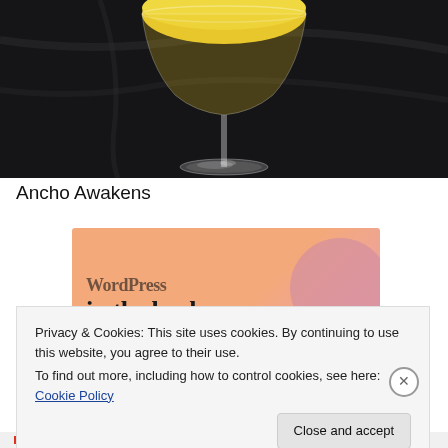[Figure (photo): A yellow cocktail in a coupe glass on a dark black marble bar surface, photographed from above showing the stem and base of the glass]
Ancho Awakens
[Figure (infographic): Advertisement banner with orange/pink gradient background showing text 'WordPress in the back.' with decorative pink blob shape]
Privacy & Cookies: This site uses cookies. By continuing to use this website, you agree to their use.
To find out more, including how to control cookies, see here: Cookie Policy
Close and accept